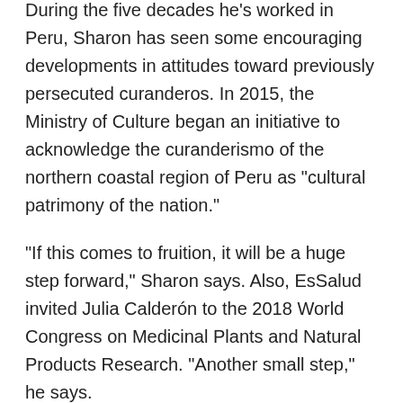During the five decades he’s worked in Peru, Sharon has seen some encouraging developments in attitudes toward previously persecuted curanderos. In 2015, the Ministry of Culture began an initiative to acknowledge the curanderismo of the northern coastal region of Peru as “cultural patrimony of the nation.”
“If this comes to fruition, it will be a huge step forward,” Sharon says. Also, EsSalud invited Julia Calderón to the 2018 World Congress on Medicinal Plants and Natural Products Research. “Another small step,” he says.
Sharon believes that the future lies in recognizing the role of curanderos in nurturing public health, a vision that would require a greater recognition of this ancient traditional healing practice. But that need not mean fully integrating traditional medicine and the curanderos into